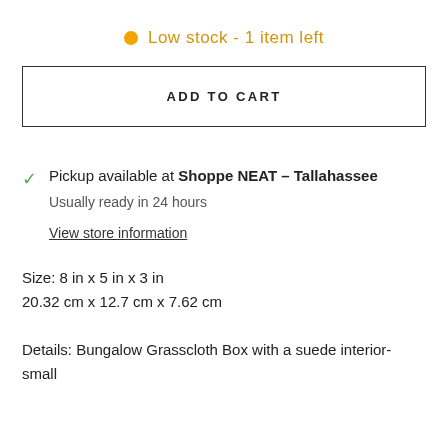Low stock - 1 item left
ADD TO CART
Pickup available at Shoppe NEAT – Tallahassee
Usually ready in 24 hours
View store information
Size: 8 in x 5 in x 3 in
20.32 cm x 12.7 cm x 7.62 cm

Details: Bungalow Grasscloth Box with a suede interior-small